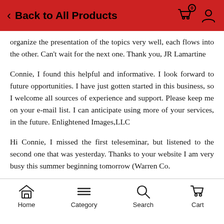Back to All Products
organize the presentation of the topics very well, each flows into the other. Can't wait for the next one. Thank you, JR Lamartine
Connie, I found this helpful and informative. I look forward to future opportunities. I have just gotten started in this business, so I welcome all sources of experience and support. Please keep me on your e-mail list. I can anticipate using more of your services, in the future. Enlightened Images,LLC
Hi Connie, I missed the first teleseminar, but listened to the second one that was yesterday. Thanks to your website I am very busy this summer beginning tomorrow (Warren Co.
Home  Category  Search  Cart